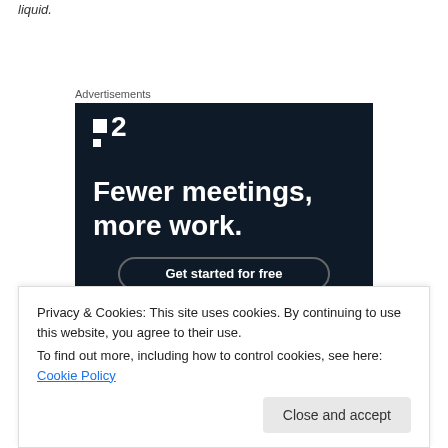liquid.
Advertisements
[Figure (other): Advertisement for a productivity app (Fewer meetings, more work.) with a Get started for free button on a dark navy background, featuring a logo with two squares and number 2.]
Privacy & Cookies: This site uses cookies. By continuing to use this website, you agree to their use.
To find out more, including how to control cookies, see here: Cookie Policy